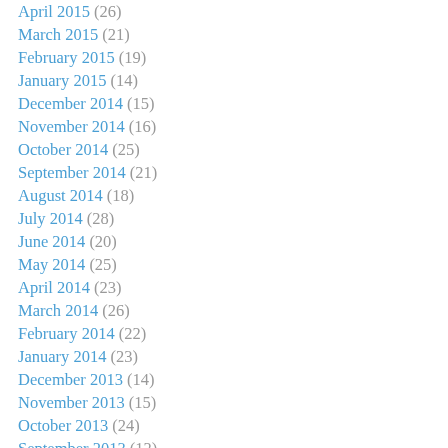April 2015 (26)
March 2015 (21)
February 2015 (19)
January 2015 (14)
December 2014 (15)
November 2014 (16)
October 2014 (25)
September 2014 (21)
August 2014 (18)
July 2014 (28)
June 2014 (20)
May 2014 (25)
April 2014 (23)
March 2014 (26)
February 2014 (22)
January 2014 (23)
December 2013 (14)
November 2013 (15)
October 2013 (24)
September 2013 (12)